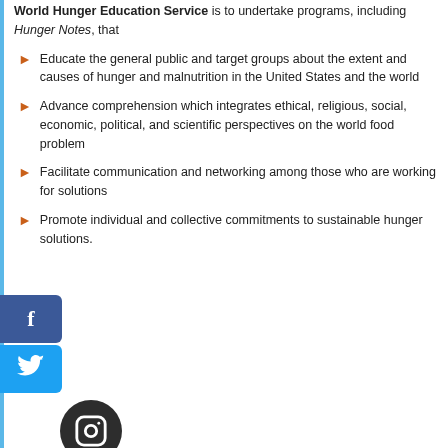World Hunger Education Service is to undertake programs, including Hunger Notes, that
Educate the general public and target groups about the extent and causes of hunger and malnutrition in the United States and the world
Advance comprehension which integrates ethical, religious, social, economic, political, and scientific perspectives on the world food problem
Facilitate communication and networking among those who are working for solutions
Promote individual and collective commitments to sustainable hunger solutions.
[Figure (photo): Social media icons: Facebook (blue square), Twitter (light blue square), Instagram (dark circle with camera icon)]
[Figure (photo): Close-up photo of a person's face, showing forehead and eyes with brown/gray hair]